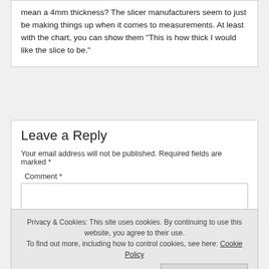mean a 4mm thickness? The slicer manufacturers seem to just be making things up when it comes to measurements. At least with the chart, you can show them “This is how thick I would like the slice to be.”
Leave a Reply
Your email address will not be published. Required fields are marked *
Comment *
Privacy & Cookies: This site uses cookies. By continuing to use this website, you agree to their use.
To find out more, including how to control cookies, see here: Cookie Policy
Close and accept